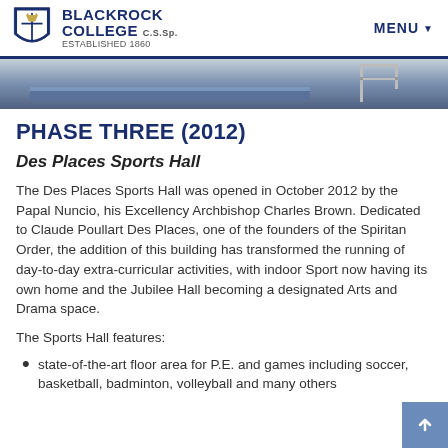BLACKROCK COLLEGE C.S.Sp. ESTABLISHED 1860 | MENU
[Figure (photo): Partial photo of an indoor sports hall or gymnasium, showing blue flooring and a metal goal post/frame structure.]
PHASE THREE (2012)
Des Places Sports Hall
The Des Places Sports Hall was opened in October 2012 by the Papal Nuncio, his Excellency Archbishop Charles Brown. Dedicated to Claude Poullart Des Places, one of the founders of the Spiritan Order, the addition of this building has transformed the running of day-to-day extra-curricular activities, with indoor Sport now having its own home and the Jubilee Hall becoming a designated Arts and Drama space.
The Sports Hall features:
state-of-the-art floor area for P.E. and games including soccer, basketball, badminton, volleyball and many others